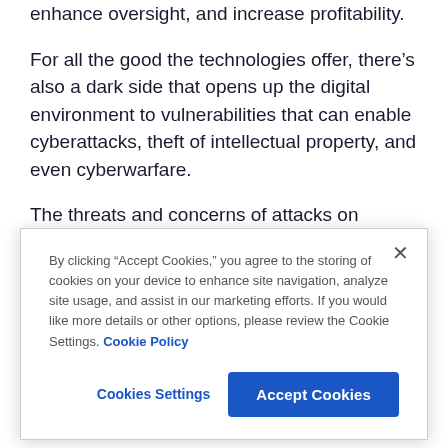enhance oversight, and increase profitability.
For all the good the technologies offer, there’s also a dark side that opens up the digital environment to vulnerabilities that can enable cyberattacks, theft of intellectual property, and even cyberwarfare.
The threats and concerns of attacks on industrial systems are clearly evident by the recent Biden Administration and the Cybersecurity and Infrastructure
By clicking “Accept Cookies,” you agree to the storing of cookies on your device to enhance site navigation, analyze site usage, and assist in our marketing efforts. If you would like more details or other options, please review the Cookie Settings. Cookie Policy
Cookies Settings
Accept Cookies
up to date and educate employees on the threats. The